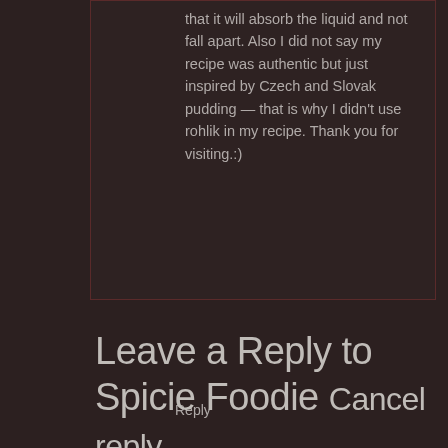that it will absorb the liquid and not fall apart. Also I did not say my recipe was authentic but just inspired by Czech and Slovak pudding — that is why I didn't use rohlik in my recipe. Thank you for visiting.:)
Reply
Leave a Reply to Spicie Foodie Cancel reply